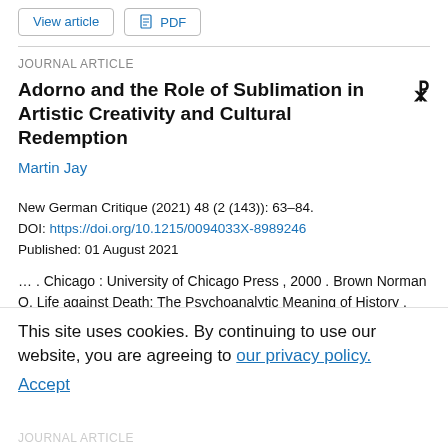View article | PDF
JOURNAL ARTICLE
Adorno and the Role of Sublimation in Artistic Creativity and Cultural Redemption
Martin Jay
New German Critique (2021) 48 (2 (143)): 63–84.
DOI: https://doi.org/10.1215/0094033X-8989246
Published: 01 August 2021
…. Chicago : University of Chicago Press , 2000 . Brown Norman O. Life against Death: The Psychoanalytic Meaning of History . Middletown, CT : Wesleyan University Press , 1959 . Clifford James . The
Predicament of Culture: Twentieth-Century Ethnography,
This site uses cookies. By continuing to use our website, you are agreeing to our privacy policy. Accept
JOURNAL ARTICLE